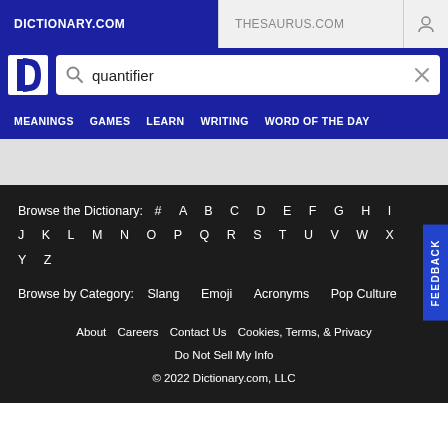DICTIONARY.COM | THESAURUS.COM
[Figure (screenshot): Dictionary.com logo - white D in a navy square]
quantifier
MEANINGS   GAMES   LEARN   WRITING   WORD OF THE DAY
Browse the Dictionary:  #  A  B  C  D  E  F  G  H  I  J  K  L  M  N  O  P  Q  R  S  T  U  V  W  X  Y  Z
Browse by Category:   Slang   Emoji   Acronyms   Pop Culture
About   Careers   Contact Us   Cookies, Terms, & Privacy
Do Not Sell My Info
© 2022 Dictionary.com, LLC